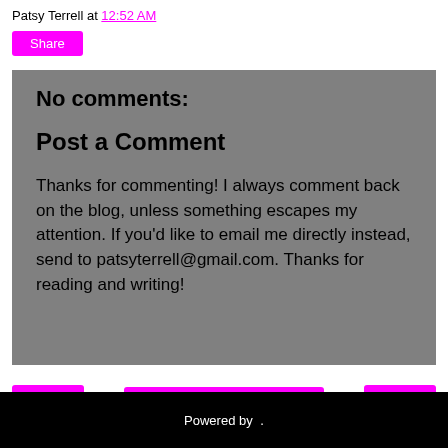Patsy Terrell at 12:52 AM
Share
No comments:
Post a Comment
Thanks for commenting! I always comment back on the blog, unless something escapes my attention. If you'd like to email me directly instead, send to patsyterrell@gmail.com. Thanks for reading and writing!
< Home >
View web version
Powered by .